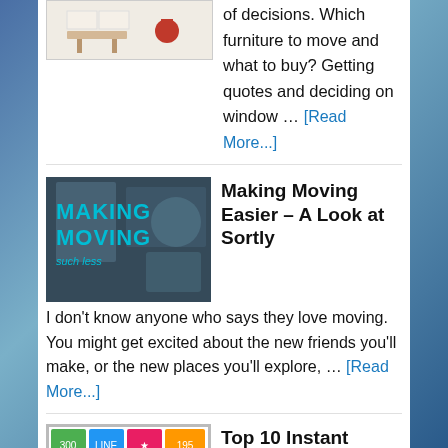[Figure (photo): Small thumbnail image of furniture/interior items on white background]
of decisions. Which furniture to move and what to buy? Getting quotes and deciding on window … [Read More...]
[Figure (photo): Image with teal text reading 'Making Moving such less']
Making Moving Easier – A Look at Sortly
I don't know anyone who says they love moving. You might get excited about the new friends you'll make, or the new places you'll explore, … [Read More...]
[Figure (infographic): Colorful infographic about top 10 instant messaging apps with statistics and icons]
Top 10 Instant Messaging Apps Worldwide
Instant messaging has been around for a long time, and while it's changed a lot since the early days in the 90's, its still one of the most … [Read More...]